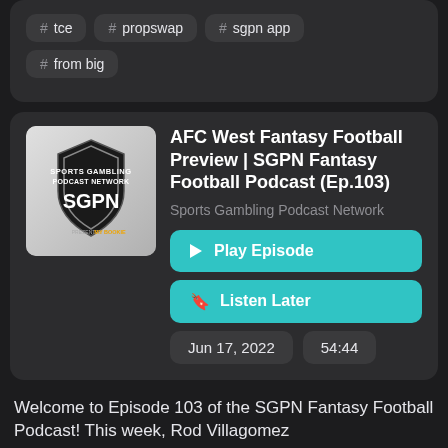# tce
# propswap
# sgpn app
# from big
AFC West Fantasy Football Preview | SGPN Fantasy Football Podcast (Ep.103)
Sports Gambling Podcast Network
Play Episode
Listen Later
Jun 17, 2022
54:44
Welcome to Episode 103 of the SGPN Fantasy Football Podcast! This week, Rod Villagomez